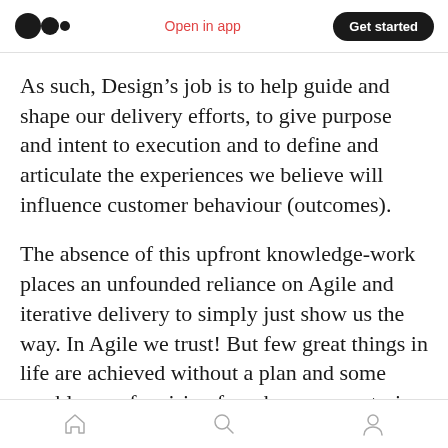Open in app | Get started
As such, Design’s job is to help guide and shape our delivery efforts, to give purpose and intent to execution and to define and articulate the experiences we believe will influence customer behaviour (outcomes).
The absence of this upfront knowledge-work places an unfounded reliance on Agile and iterative delivery to simply just show us the way. In Agile we trust! But few great things in life are achieved without a plan and some semblance of a vision for where we are trying to get to.
Home | Search | Profile